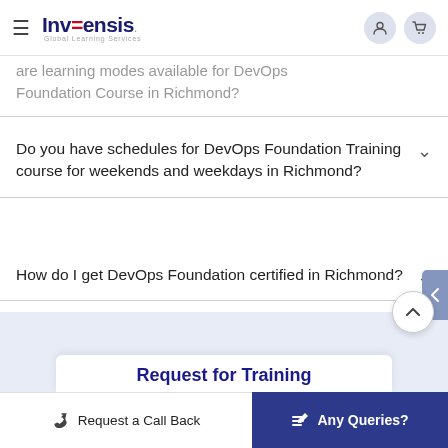Invensis Global Learning Services — navigation bar
are learning modes available for DevOps Foundation Course in Richmond?
Do you have schedules for DevOps Foundation Training course for weekends and weekdays in Richmond?
How do I get DevOps Foundation certified in Richmond?
Request for Training
Request a Call Back | Any Queries?